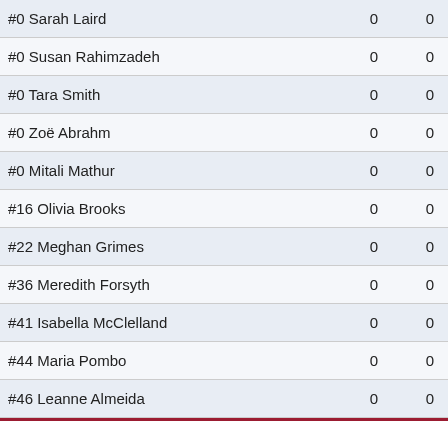| Player |  |  |  |  |
| --- | --- | --- | --- | --- |
| #0 Sarah Laird | 0 | 0 | 0 | 0 |
| #0 Susan Rahimzadeh | 0 | 0 | 0 | 0 |
| #0 Tara Smith | 0 | 0 | 0 | 0 |
| #0 Zoë Abrahm | 0 | 0 | 0 | 0 |
| #0 Mitali Mathur | 0 | 0 | 0 | 0 |
| #16 Olivia Brooks | 0 | 0 | 0 | 0 |
| #22 Meghan Grimes | 0 | 0 | 0 | 0 |
| #36 Meredith Forsyth | 0 | 0 | 0 | 0 |
| #41 Isabella McClelland | 0 | 0 | 0 | 0 |
| #44 Maria Pombo | 0 | 0 | 0 | 0 |
| #46 Leanne Almeida | 0 | 0 | 0 | 0 |
| Player |
| --- |
| #0 Alexandra G... |
| #0 Caitie Harpe... |
| #0 Lillian Hornu... |
| #0 Olivia Johns... |
| #0 Bailey Krone... |
| #0 Erin LeBeau... |
| #0 Shirley Liu |
| #0 Olivia Loibne... |
| #0 Jesal Patel |
| #0 Elise Sprouls... |
| #0 Dara Wax |
| #0 Faith Whitme... |
| #25 Maya Polla... |